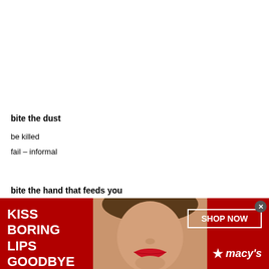bite the dust
be killed
fail – informal
bite the hand that feeds you
deliberately hurt or offend a benefactor
[Figure (illustration): Advertisement banner for Macy's lipstick: red background with text 'KISS BORING LIPS GOODBYE', photo of woman with red lips, 'SHOP NOW' button, and Macy's star logo.]